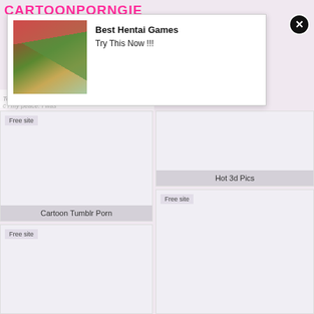CARTOONPORNGIE
[Figure (screenshot): Ad popup overlay with anime illustration and close button. Text: 'Best Hentai Games / Try This Now !!!']
Hot Incest Art
Ten more minutes and I could my peace. I was
[Figure (screenshot): Card with 'Free site' label and caption 'Cartoon Tumblr Porn']
Cartoon Tumblr Porn
[Figure (screenshot): Card with caption 'Hot 3d Pics']
Hot 3d Pics
[Figure (screenshot): Card with 'Free site' label, lower right column]
Free site
[Figure (screenshot): Card with 'Free site' label, bottom left]
Free site